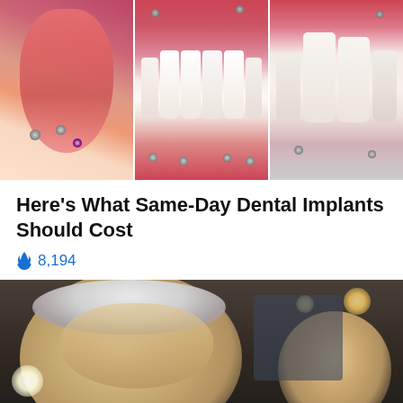[Figure (photo): Three side-by-side clinical dental photos showing dental implant posts in gums: left image shows tongue and implant screws, middle image shows full set of implant-supported teeth with screws visible, right image shows close-up of implant-supported teeth]
Here's What Same-Day Dental Implants Should Cost
🔥 8,194
[Figure (photo): Photo of an older white-haired man (closeup face, looking to the side) with a younger man smiling in the background, indoor setting with lights]